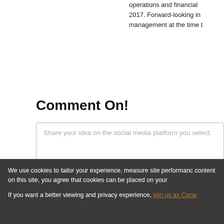operations and financial 2017. Forward-looking in management at the time t
Comment On!
Share your idea on the social media platform you select.
We use cookies to tailor your experience, measure site performance content on this site, you agree that cookies can be placed on your
If you want a better viewing and privacy experience, join us as Cana